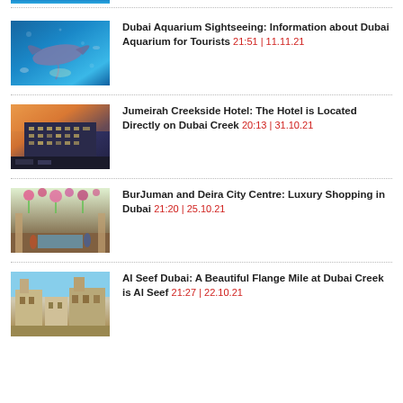[Figure (photo): Partial top image, blue water/aquarium scene (cropped)]
Dubai Aquarium Sightseeing: Information about Dubai Aquarium for Tourists 21:51 | 11.11.21
Jumeirah Creekside Hotel: The Hotel is Located Directly on Dubai Creek 20:13 | 31.10.21
BurJuman and Deira City Centre: Luxury Shopping in Dubai 21:20 | 25.10.21
Al Seef Dubai: A Beautiful Flange Mile at Dubai Creek is Al Seef 21:27 | 22.10.21